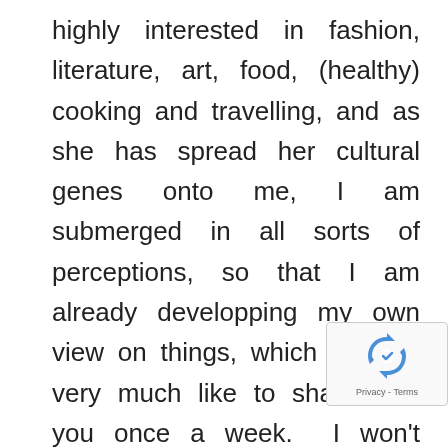highly interested in fashion, literature, art, food, (healthy) cooking and travelling, and as she has spread her cultural genes onto me, I am submerged in all sorts of perceptions, so that I am already developping my own view on things, which I would very much like to share with you once a week.  I won't discuss neither politics nor religion as you may understand that that is way too complicated for me. After all, I'm just a little boy.

I have been following a few fashion and bloggers myself and as I got to understand this
[Figure (other): reCAPTCHA badge with recycling-arrow logo icon and 'Privacy - Terms' text]